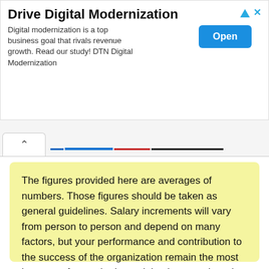[Figure (screenshot): Advertisement banner for 'Drive Digital Modernization' with title, body text about digital modernization being a top business goal, and an 'Open' button. Also includes a close icon (triangle + X).]
[Figure (screenshot): Browser tab bar showing a tab with an up-arrow (^) and several colored horizontal lines representing other tabs: thin dark blue, thick medium blue, red/maroon, and dark/black lines.]
The figures provided here are averages of numbers. Those figures should be taken as general guidelines. Salary increments will vary from person to person and depend on many factors, but your performance and contribution to the success of the organization remain the most important factors in determining how much and how often you will be granted a raise.